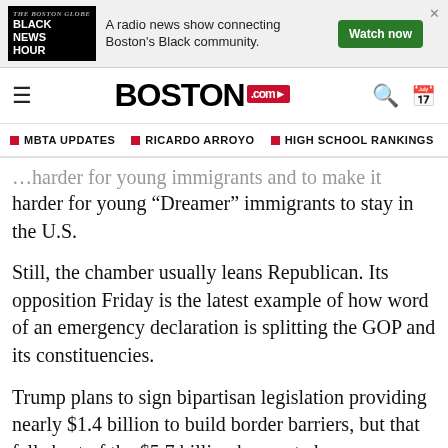[Figure (other): Advertisement banner for Black News Hour radio show with logo, text, and Watch now button]
BOSTON.com
MBTA UPDATES
RICARDO ARROYO
HIGH SCHOOL RANKINGS
harder for young “Dreamer” immigrants to stay in the U.S.
Still, the chamber usually leans Republican. Its opposition Friday is the latest example of how word of an emergency declaration is splitting the GOP and its constituencies.
Trump plans to sign bipartisan legislation providing nearly $1.4 billion to build border barriers, but that fell short of the $5.7 billion he wanted.